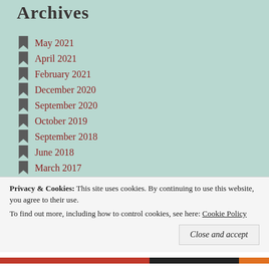Archives
May 2021
April 2021
February 2021
December 2020
September 2020
October 2019
September 2018
June 2018
March 2017
January 2017
Privacy & Cookies: This site uses cookies. By continuing to use this website, you agree to their use. To find out more, including how to control cookies, see here: Cookie Policy
Close and accept